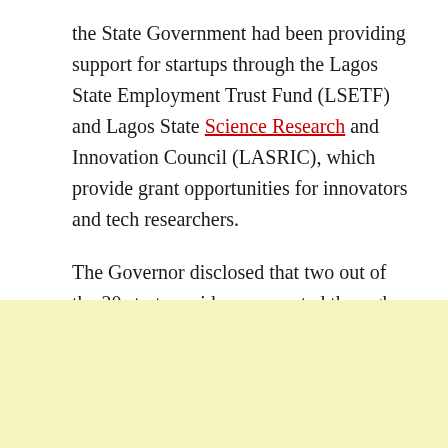the State Government had been providing support for startups through the Lagos State Employment Trust Fund (LSETF) and Lagos State Science Research and Innovation Council (LASRIC), which provide grant opportunities for innovators and tech researchers.
The Governor disclosed that two out of the 20 start-ups ideas supported through LASRIC last year had secured patents for their innovations and ready to transform into fully-fledged businesses that would create jobs.
Sanwo-Olu said the State Government's
[Figure (other): Yellow/cream colored advertisement block at the bottom of the page]